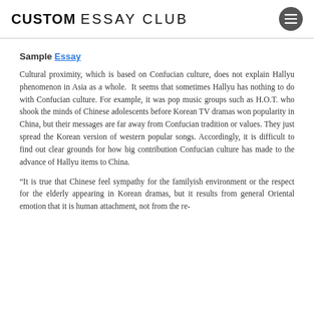CUSTOM ESSAY CLUB
Sample Essay
Cultural proximity, which is based on Confucian culture, does not explain Hallyu phenomenon in Asia as a whole.  It seems that sometimes Hallyu has nothing to do with Confucian culture. For example, it was pop music groups such as H.O.T. who shook the minds of Chinese adolescents before Korean TV dramas won popularity in China, but their messages are far away from Confucian tradition or values. They just spread the Korean version of western popular songs. Accordingly, it is difficult to find out clear grounds for how big contribution Confucian culture has made to the advance of Hallyu items to China.
“It is true that Chinese feel sympathy for the familyish environment or the respect for the elderly appearing in Korean dramas, but it results from general Oriental emotion that it is human attachment, not from the re-